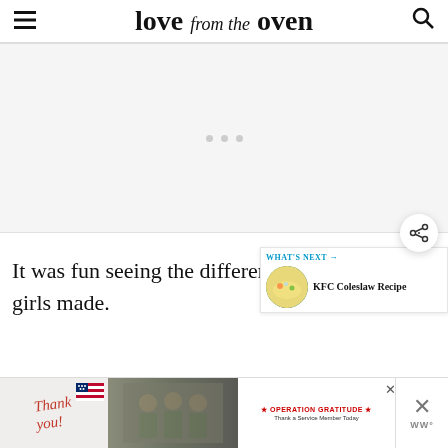love from the oven
[Figure (other): Advertisement placeholder area with three dots indicating loading content]
It was fun seeing the different creations the girls made.
[Figure (infographic): What's Next widget showing KFC Coleslaw Recipe with circular thumbnail image]
[Figure (infographic): Operation Gratitude advertisement banner with Thank You text, soldiers photo, and Operation Gratitude logo]